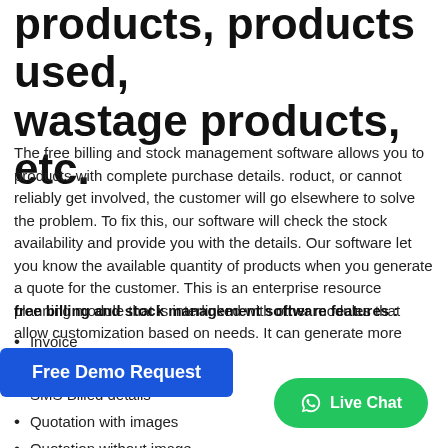products, products used, wastage products, etc.
The free billing and stock management software allows you to products with complete purchase details. roduct, or cannot reliably get involved, the customer will go elsewhere to solve the problem. To fix this, our software will check the stock availability and provide you with the details. Our software let you know the available quantity of products when you generate a quote for the customer. This is an enterprise resource planning module that is interlinked with other modules that allow customization based on needs. It can generate more than 400+ reports..
[Figure (other): Free Demo Request button (blue rounded rectangle)]
free billing and stock management software features :
Invoice
Email Invoice
SMS Billed details
Quotation with images
Quotation without image
Email Quotation
[Figure (other): Live Chat button (green rounded pill with WhatsApp icon)]